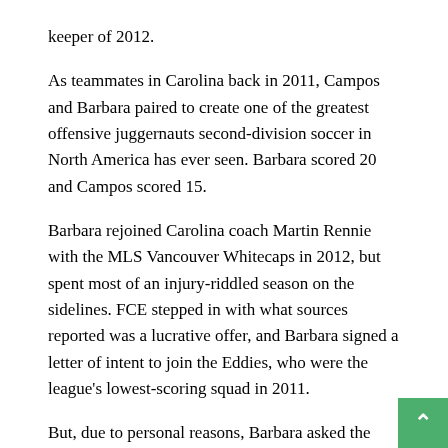keeper of 2012.
As teammates in Carolina back in 2011, Campos and Barbara paired to create one of the greatest offensive juggernauts second-division soccer in North America has ever seen. Barbara scored 20 and Campos scored 15.
Barbara rejoined Carolina coach Martin Rennie with the MLS Vancouver Whitecaps in 2012, but spent most of an injury-riddled season on the sidelines. FCE stepped in with what sources reported was a lucrative offer, and Barbara signed a letter of intent to join the Eddies, who were the league's lowest-scoring squad in 2011.
But, due to personal reasons, Barbara asked the Eddies to reconsider — and the club agreed to tear up the letter.
"Due to certain personal issues, we have decided to allow...